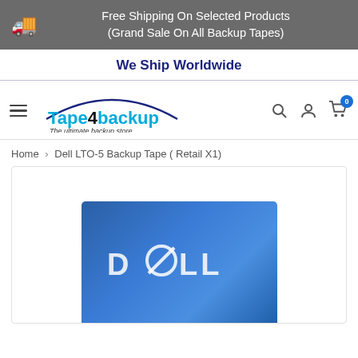Free Shipping On Selected Products (Grand Sale On All Backup Tapes)
We Ship Worldwide
[Figure (logo): Tape4backup logo with arc above text and tagline 'The ultimate backup store']
Home > Dell LTO-5 Backup Tape ( Retail X1)
[Figure (photo): Dell LTO-5 Backup Tape product box with blue background showing DELL logo]